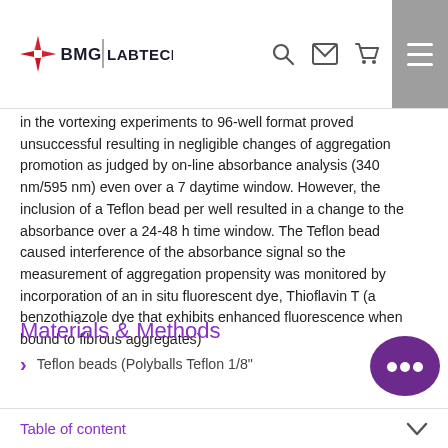BMG LABTECH
in the vortexing experiments to 96-well format proved unsuccessful resulting in negligible changes of aggregation promotion as judged by on-line absorbance analysis (340 nm/595 nm) even over a 7 daytime window. However, the inclusion of a Teflon bead per well resulted in a change to the absorbance over a 24-48 h time window. The Teflon bead caused interference of the absorbance signal so the measurement of aggregation propensity was monitored by incorporation of an in situ fluorescent dye, Thioflavin T (a benzothiazole dye that exhibits enhanced fluorescence when bound to fibrous aggregates)
Materials & Methods
Teflon beads (Polyballs Teflon 1/8"
Table of content